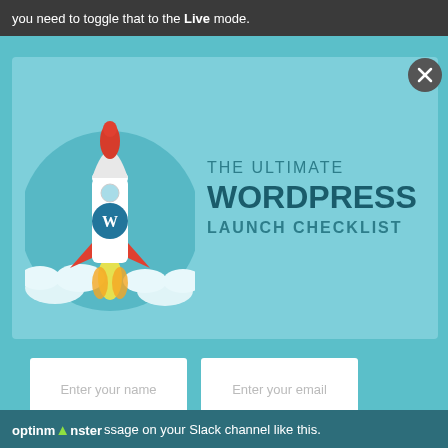you need to toggle that to the Live mode.
[Figure (illustration): Popup modal with a rocket ship illustration launching from a teal circle background with clouds, alongside text 'THE ULTIMATE WORDPRESS LAUNCH CHECKLIST'. The modal has form fields for name and email, and an orange 'Download Now' button.]
Enter your name
Enter your email
Download Now
optinmonster ssage on your Slack channel like this.